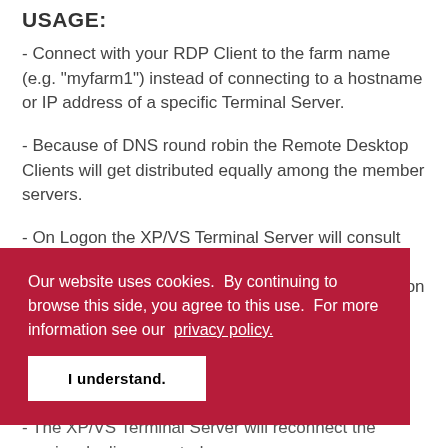USAGE:
- Connect with your RDP Client to the farm name (e.g. "myfarm1") instead of connecting to a hostname or IP address of a specific Terminal Server.
- Because of DNS round robin the Remote Desktop Clients will get distributed equally among the member servers.
- On Logon the XP/VS Terminal Server will consult the Session Directory or Session Broker server to determine if there is an existing disconnected session for the user ...
Our website uses cookies. By continuing to browse this side, you agree to this use. For more information see our privacy policy.
I understand.